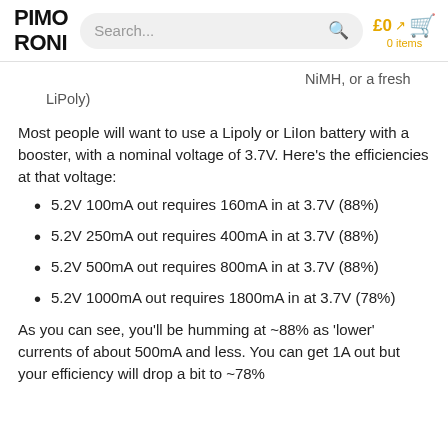PIMORONI | Search... | £0 0 items
NiMH, or a fresh LiPoly)
Most people will want to use a Lipoly or LiIon battery with a booster, with a nominal voltage of 3.7V. Here's the efficiencies at that voltage:
5.2V 100mA out requires 160mA in at 3.7V (88%)
5.2V 250mA out requires 400mA in at 3.7V (88%)
5.2V 500mA out requires 800mA in at 3.7V (88%)
5.2V 1000mA out requires 1800mA in at 3.7V (78%)
As you can see, you'll be humming at ~88% as 'lower' currents of about 500mA and less. You can get 1A out but your efficiency will drop a bit to ~78%